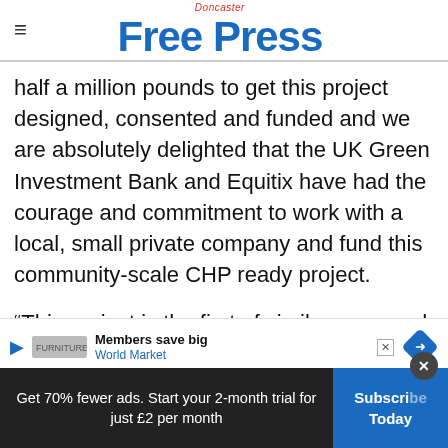Doncaster Free Press
half a million pounds to get this project designed, consented and funded and we are absolutely delighted that the UK Green Investment Bank and Equitix have had the courage and commitment to work with a local, small private company and fund this community-scale CHP ready project.
“This project is the first of similar proposed devel... generation projects to cut carbon emissions.”
[Figure (screenshot): Advertisement banner: Members save big - World Market]
Get 70% fewer ads. Start your 2-month trial for just £2 per month
Subscribe Today